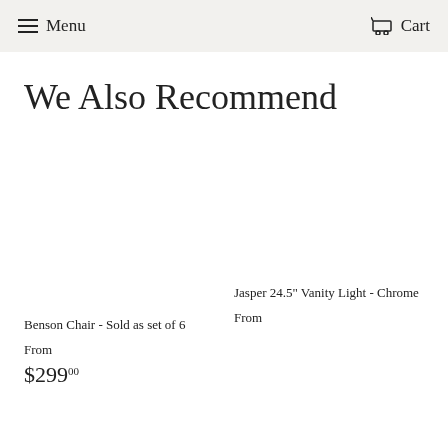Menu  Cart
We Also Recommend
Benson Chair - Sold as set of 6
From
$29900
Jasper 24.5" Vanity Light - Chrome
From